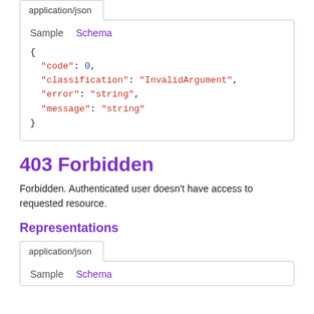application/json
Sample   Schema
{
  "code": 0,
  "classification": "InvalidArgument",
  "error": "string",
  "message": "string"
}
403 Forbidden
Forbidden. Authenticated user doesn't have access to requested resource.
Representations
application/json
Sample   Schema